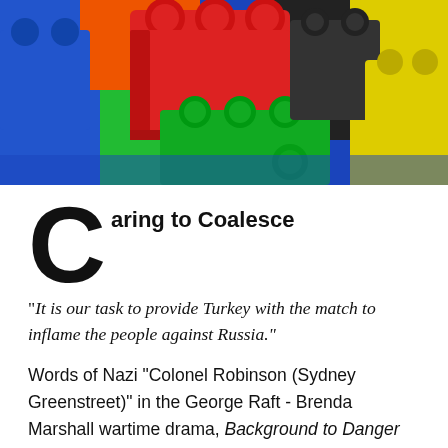[Figure (photo): Close-up photograph of colorful plastic toy building blocks (Duplo/Lego style) in red, blue, green, yellow, black colors arranged together.]
Caring to Coalesce
“It is our task to provide Turkey with the match to inflame the people against Russia.”
Words of Nazi “Colonel Robinson (Sydney Greenstreet)” in the George Raft - Brenda Marshall wartime drama, Background to Danger (’43), summarizing for his provocateur charge their